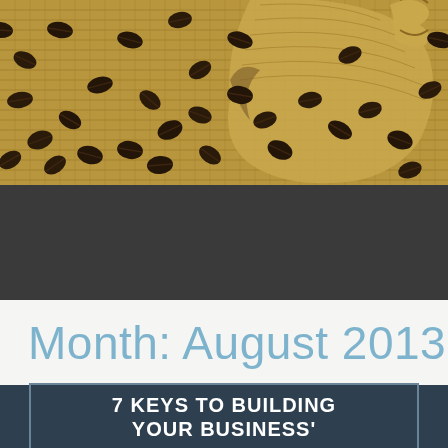[Figure (photo): Coffee beans spilling out of a burlap sack onto a burlap surface, warm brown tones]
Month: August 2013
7 KEYS TO BUILDING YOUR BUSINESS'